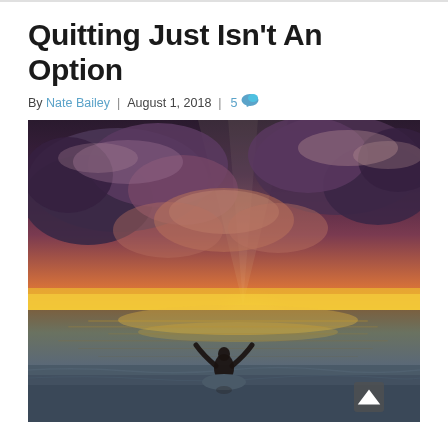Quitting Just Isn't An Option
By Nate Bailey | August 1, 2018 | 5
[Figure (photo): A person standing waist-deep in the ocean with arms raised triumphantly, silhouetted against a dramatic sunset sky with large clouds lit by golden and orange light.]